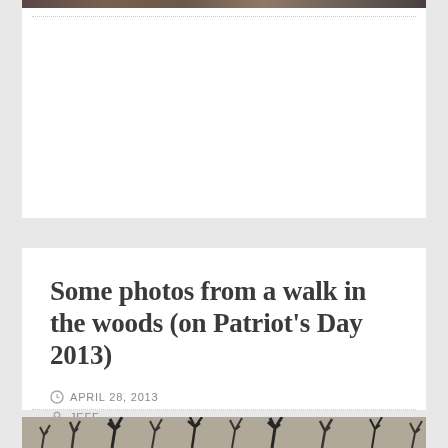[Figure (photo): Top portion of a photo visible at the top of the page, dark/muted tones]
Some photos from a walk in the woods (on Patriot’s Day 2013)
APRIL 28, 2013
JEFF
[Figure (photo): Bottom photo showing bare tree branches against a grey sky]